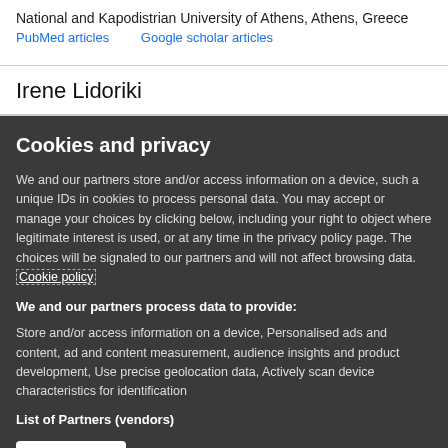National and Kapodistrian University of Athens, Athens, Greece
PubMed articles    Google scholar articles
Irene Lidoriki
Cookies and privacy
We and our partners store and/or access information on a device, such a unique IDs in cookies to process personal data. You may accept or manage your choices by clicking below, including your right to object where legitimate interest is used, or at any time in the privacy policy page. These choices will be signaled to our partners and will not affect browsing data. Cookie policy
We and our partners process data to provide:
Store and/or access information on a device, Personalised ads and content, ad and content measurement, audience insights and product development, Use precise geolocation data, Actively scan device characteristics for identification
List of Partners (vendors)
I Accept